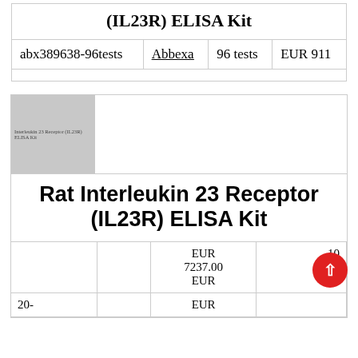(IL23R) ELISA Kit
|  |  |  |  |
| --- | --- | --- | --- |
| abx389638-96tests | Abbexa | 96 tests | EUR 911 |
[Figure (photo): Product image placeholder for Rat Interleukin 23 Receptor (IL23R) ELISA Kit]
Rat Interleukin 23 Receptor (IL23R) ELISA Kit
|  |  |  |  |
| --- | --- | --- | --- |
| 20- |  | EUR
7237.00
EUR | 10  06
Tests |